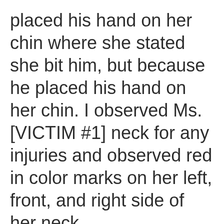placed his hand on her chin where she stated she bit him, but because he placed his hand on her chin. I observed Ms. [VICTIM #1] neck for any injuries and observed red in color marks on her left, front, and right side of her neck.